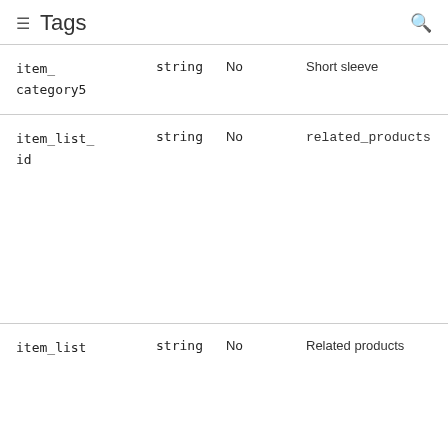Tags
| Name | Type | Required | Example Value |
| --- | --- | --- | --- |
| item_category5 | string | No | Short sleeve |
| item_list_id | string | No | related_products |
| item_list | string | No | Related products |